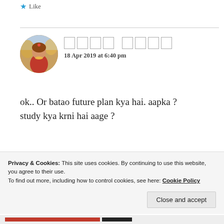Like
[Figure (photo): Circular avatar photo of a woman in traditional Indian bridal attire with jewelry and colorful background]
□□□□ □□□□
18 Apr 2019 at 6:40 pm
ok.. Or batao future plan kya hai. aapka ? study kya krni hai aage ?
Like
Privacy & Cookies: This site uses cookies. By continuing to use this website, you agree to their use.
To find out more, including how to control cookies, see here: Cookie Policy
Close and accept